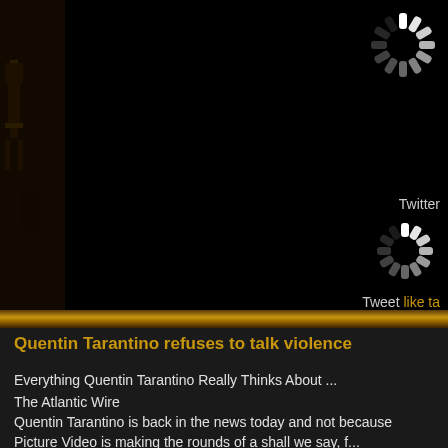[Figure (screenshot): Dark website screenshot with black background showing a left panel with a dark figure/photo, two loading spinner icons (white radial dashes) on the right side, a Twitter label, and a Tweet prompt with 'like ta' in orange text]
Twitter
Tweet like ta
Quentin Tarantino refuses to talk violence
Everything Quentin Tarantino Really Thinks About ...
The Atlantic Wire
Quentin Tarantino is back in the news today and not because
Picture Video is making the rounds of a shall we say, f...